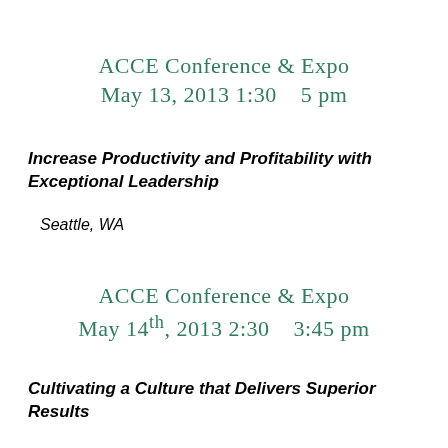ACCE Conference & Expo
May 13, 2013 1:30 – 5 pm
Increase Productivity and Profitability with Exceptional Leadership
Seattle, WA
ACCE Conference & Expo
May 14th, 2013 2:30 – 3:45 pm
Cultivating a Culture that Delivers Superior Results